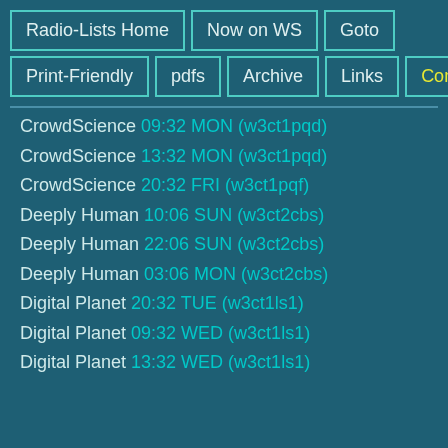Radio-Lists Home | Now on WS | Goto | Print-Friendly | pdfs | Archive | Links | Contact
CrowdScience 09:32 MON (w3ct1pqd)
CrowdScience 13:32 MON (w3ct1pqd)
CrowdScience 20:32 FRI (w3ct1pqf)
Deeply Human 10:06 SUN (w3ct2cbs)
Deeply Human 22:06 SUN (w3ct2cbs)
Deeply Human 03:06 MON (w3ct2cbs)
Digital Planet 20:32 TUE (w3ct1ls1)
Digital Planet 09:32 WED (w3ct1ls1)
Digital Planet 13:32 WED (w3ct1ls1)